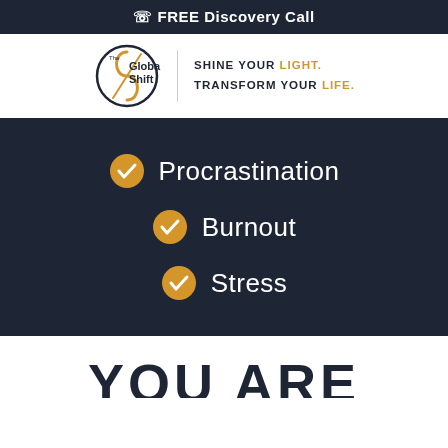FREE Discovery Call
[Figure (logo): The Global Shift logo with tagline: SHINE YOUR LIGHT. TRANSFORM YOUR LIFE.]
Procrastination
Burnout
Stress
YOU ARE